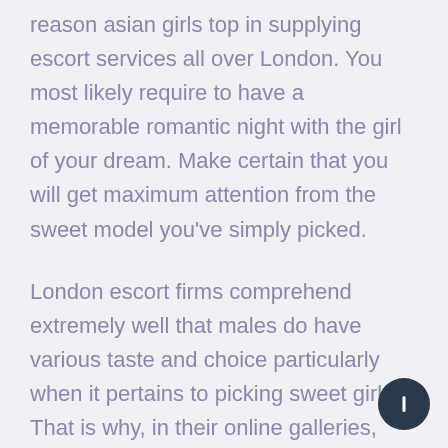reason asian girls top in supplying escort services all over London. You most likely require to have a memorable romantic night with the girl of your dream. Make certain that you will get maximum attention from the sweet model you've simply picked.
London escort firms comprehend extremely well that males do have various taste and choice particularly when it pertains to picking sweet girls. That is why, in their online galleries, you can discover any type of girl ranging from small to curvy, African to English, brunette to blonde and tall to short.